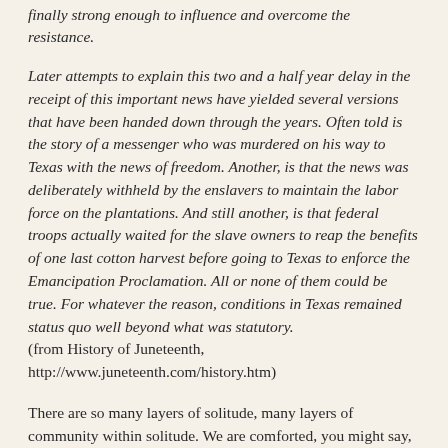finally strong enough to influence and overcome the resistance.
Later attempts to explain this two and a half year delay in the receipt of this important news have yielded several versions that have been handed down through the years. Often told is the story of a messenger who was murdered on his way to Texas with the news of freedom. Another, is that the news was deliberately withheld by the enslavers to maintain the labor force on the plantations. And still another, is that federal troops actually waited for the slave owners to reap the benefits of one last cotton harvest before going to Texas to enforce the Emancipation Proclamation. All or none of them could be true. For whatever the reason, conditions in Texas remained status quo well beyond what was statutory.
(from History of Juneteenth, http://www.juneteenth.com/history.htm)
There are so many layers of solitude, many layers of community within solitude. We are comforted, you might say, by the gift and ability to see at a glance.